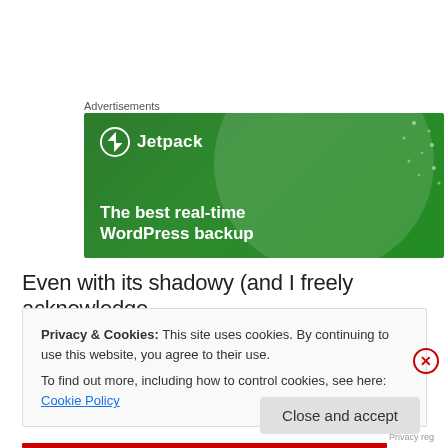Advertisements
[Figure (illustration): Jetpack advertisement banner with green background showing 'The best real-time WordPress backup' with Jetpack logo and decorative circles and dots]
Even with its shadowy (and I freely acknowledge
Privacy & Cookies: This site uses cookies. By continuing to use this website, you agree to their use.
To find out more, including how to control cookies, see here: Cookie Policy
Close and accept